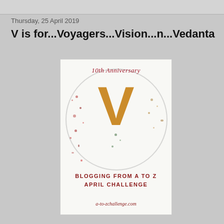Thursday, 25 April 2019
V is for...Voyagers...Vision...n...Vedanta
[Figure (illustration): A-to-Z April Challenge 10th Anniversary badge featuring a large orange V letter on a white spattered background with a circular watermark, and text: BLOGGING FROM A TO Z APRIL CHALLENGE a-to-zchallenge.com]